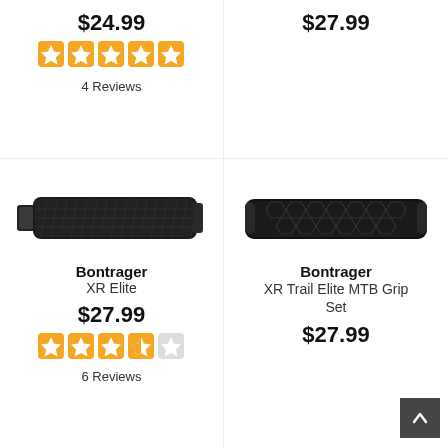$24.99
[Figure (infographic): 5 orange star rating icons]
4 Reviews
$27.99
[Figure (photo): Bontrager XR Elite bicycle handlebar grip, dark knurled texture, cylindrical shape with end cap]
[Figure (photo): Bontrager XR Trail Elite MTB Grip Set, black hexagonal pattern grip]
Bontrager
XR Elite
Bontrager
XR Trail Elite MTB Grip Set
$27.99
[Figure (infographic): 3.5 orange star rating icons out of 5]
6 Reviews
$27.99